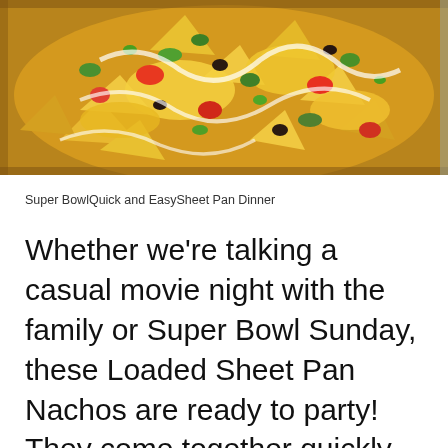[Figure (photo): Overhead photo of loaded sheet pan nachos with colorful toppings including melted cheese, green peppers, tomatoes, black beans, and white sauce/sour cream drizzle on a baking sheet pan]
Super BowlQuick and EasySheet Pan Dinner
Whether we're talking a casual movie night with the family or Super Bowl Sunday, these Loaded Sheet Pan Nachos are ready to party! They come together quickly and easily, and are so much fun to each straight from the pan.